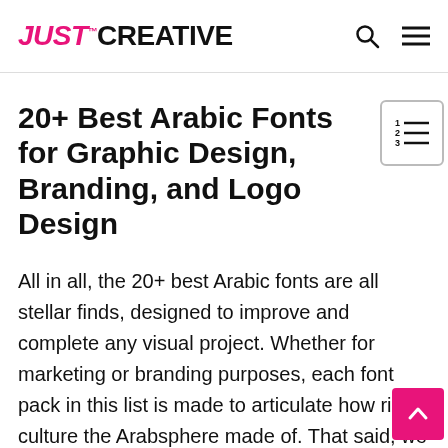JUST™ CREATIVE
20+ Best Arabic Fonts for Graphic Design, Branding, and Logo Design
[Figure (other): Table of contents icon — numbered list icon with rows]
All in all, the 20+ best Arabic fonts are all stellar finds, designed to improve and complete any visual project. Whether for marketing or branding purposes, each font pack in this list is made to articulate how rich a culture the Arabsphere made of. That said, we